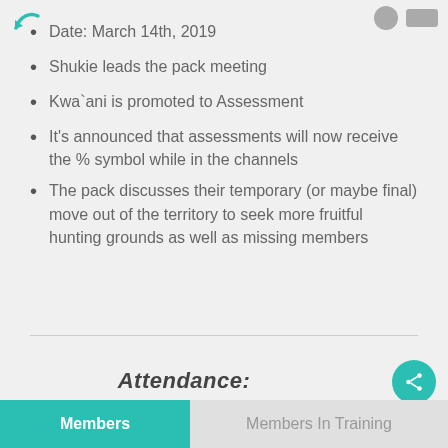Date: March 14th, 2019
Shukie leads the pack meeting
Kwa`ani is promoted to Assessment
It's announced that assessments will now receive the % symbol while in the channels
The pack discusses their temporary (or maybe final) move out of the territory to seek more fruitful hunting grounds as well as missing members
Attendance:
Members
Members In Training